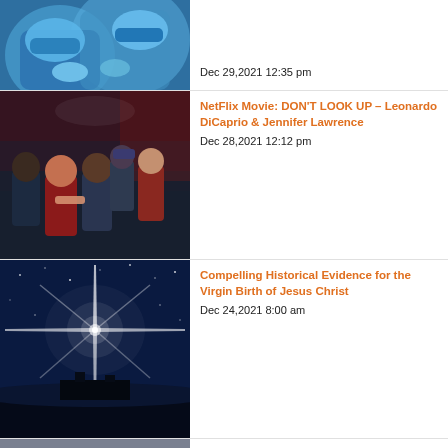[Figure (photo): Medical professionals in blue surgical gowns and masks operating]
Dec 29,2021 12:35 pm
[Figure (photo): Movie poster for Don't Look Up with Leonardo DiCaprio and Jennifer Lawrence cast]
NetFlix Movie: DON'T LOOK UP – Leonardo DiCaprio & Jennifer Lawrence
Dec 28,2021 12:12 pm
[Figure (photo): Star of Bethlehem over dark landscape with bright cross-shaped light beam]
Compelling Historical Evidence for the Virgin Birth of Jesus Christ
Dec 24,2021 8:00 am